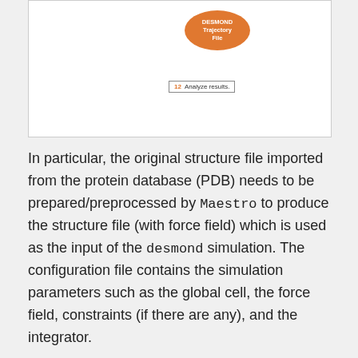[Figure (flowchart): Partial flowchart showing a DESMOND Trajectory File oval (orange) and a step 12 'Analyze results.' box below it.]
In particular, the original structure file imported from the protein database (PDB) needs to be prepared/preprocessed by Maestro to produce the structure file (with force field) which is used as the input of the desmond simulation. The configuration file contains the simulation parameters such as the global cell, the force field, constraints (if there are any), and the integrator.
The visualization tool Maestro is a graphical user interface (GUI).
It is not advisable to run GUI software on the HPC